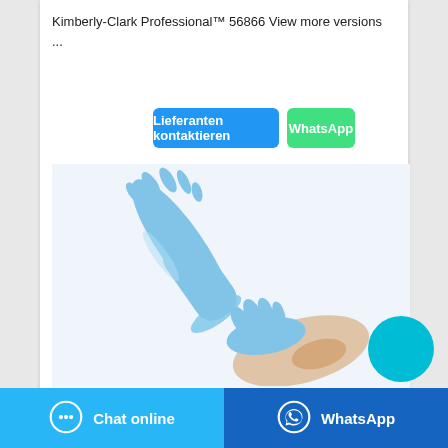Kimberly-Clark Professional™ 56866 View more versions ...
[Figure (screenshot): Two blue buttons: 'Lieferanten kontaktieren' (blue) and 'WhatsApp' (green)]
[Figure (photo): Hands wearing long blue nitrile gloves, one hand pulling the glove onto the other arm, on a white background]
[Figure (other): A solid cyan/blue circle button overlay]
Chat online
WhatsApp